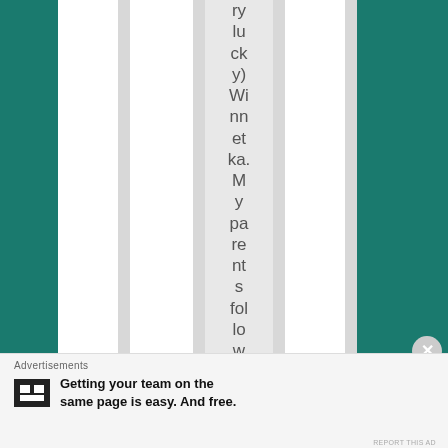[Figure (other): Page fragment showing a table or multi-column layout with teal sidebar columns on left and right, and light gray column dividers. The central highlighted column contains vertically-oriented text reading: 'ry lu ck y) Wi nn et ka. M y pa re nt s fo l lo w ed']
Advertisements
P2  Getting your team on the same page is easy. And free.